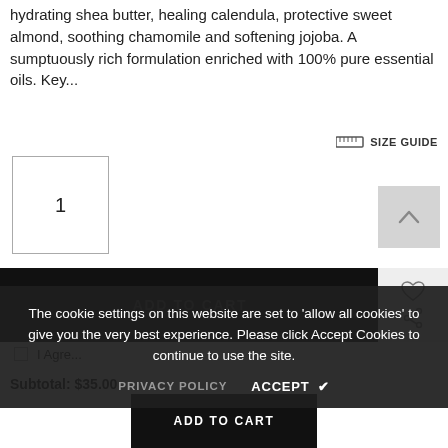hydrating shea butter, healing calendula, protective sweet almond, soothing chamomile and softening jojoba. A sumptuously rich formulation enriched with 100% pure essential oils. Key...
SIZE GUIDE
1
ADD TO CART
The cookie settings on this website are set to 'allow all cookies' to give you the very best experience. Please click Accept Cookies to continue to use the site.
PRIVACY POLICY   ACCEPT ✔
I Agre...
Subtotal: $35.00
ADD TO CART